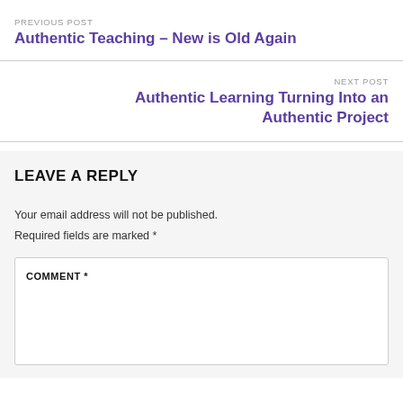PREVIOUS POST
Authentic Teaching – New is Old Again
NEXT POST
Authentic Learning Turning Into an Authentic Project
LEAVE A REPLY
Your email address will not be published. Required fields are marked *
COMMENT *